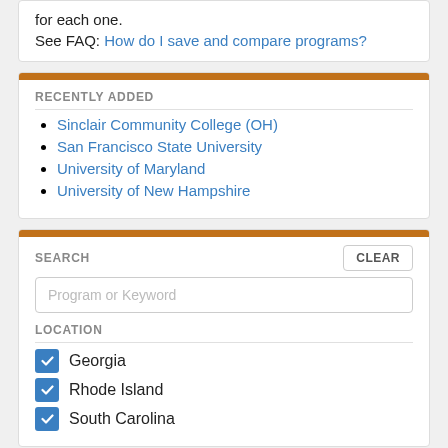for each one.
See FAQ: How do I save and compare programs?
RECENTLY ADDED
Sinclair Community College (OH)
San Francisco State University
University of Maryland
University of New Hampshire
SEARCH
Program or Keyword
LOCATION
Georgia
Rhode Island
South Carolina